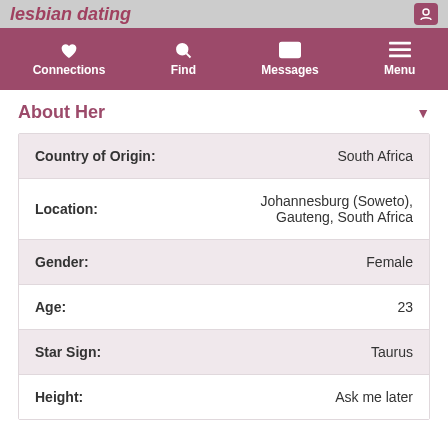lesbian dating
| Field | Value |
| --- | --- |
| Country of Origin: | South Africa |
| Location: | Johannesburg (Soweto), Gauteng, South Africa |
| Gender: | Female |
| Age: | 23 |
| Star Sign: | Taurus |
| Height: | Ask me later |